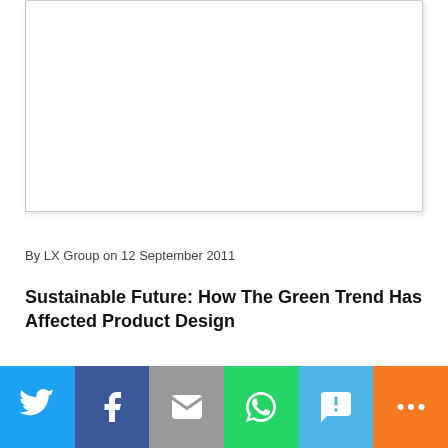[Figure (photo): White/blank image placeholder with light border and shadow]
By LX Group on 12 September 2011
Sustainable Future: How The Green Trend Has Affected Product Design
[Figure (infographic): Social share bar with Twitter, Facebook, Email, WhatsApp, SMS, and More buttons]